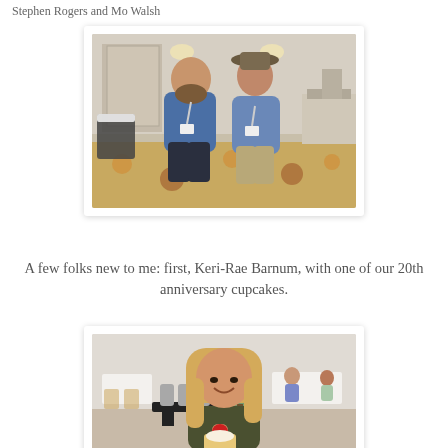Stephen Rogers and Mo Walsh
[Figure (photo): Two men standing together in what appears to be a hotel convention room. The man on the left wears a blue shirt with a lanyard. The man on the right wears a hat and a denim jacket with a lanyard. Colorful patterned carpet is visible on the floor.]
A few folks new to me: first, Keri-Rae Barnum, with one of our 20th anniversary cupcakes.
[Figure (photo): A smiling young blonde woman holding up a cupcake with a red topping, standing in what appears to be a hotel event space. Other people and furniture are visible in the background.]